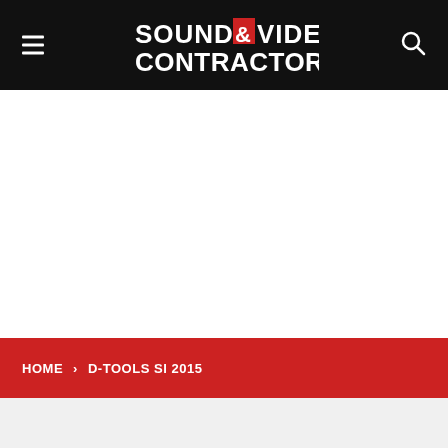Sound & Video Contractor
HOME › D-TOOLS SI 2015